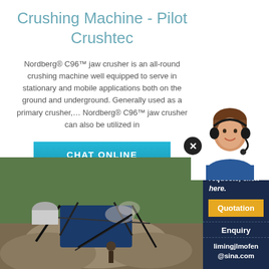Crushing Machine - Pilot Crushtec
Nordberg® C96™ jaw crusher is an all-round crushing machine well equipped to serve in stationary and mobile applications both on the ground and underground. Generally used as a primary crusher,… Nordberg® C96™ jaw crusher can also be utilized in
CHAT ONLINE
[Figure (photo): A blue crushing/screening machine in an outdoor setting with piles of gravel/aggregate and green trees in the background]
Have any requests, click here.
Quotation
Enquiry
limingjlmofen@sina.com